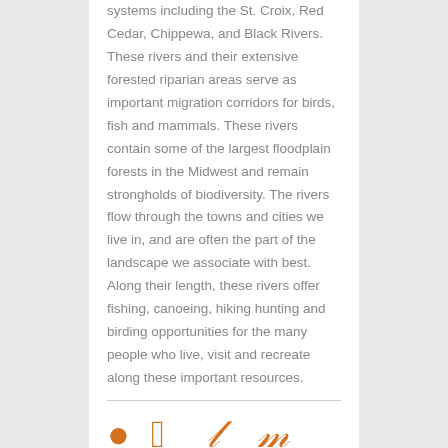systems including the St. Croix, Red Cedar, Chippewa, and Black Rivers. These rivers and their extensive forested riparian areas serve as important migration corridors for birds, fish and mammals. These rivers contain some of the largest floodplain forests in the Midwest and remain strongholds of biodiversity. The rivers flow through the towns and cities we live in, and are often the part of the landscape we associate with best. Along their length, these rivers offer fishing, canoeing, hiking hunting and birding opportunities for the many people who live, visit and recreate along these important resources.
[Figure (other): Partial view of decorative footer icons or logo elements in orange, partially cropped at the bottom of the page]